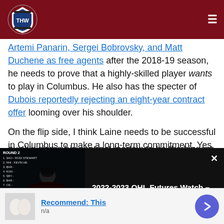THW - The Hockey Writers
Artemi Panarin, Sergei Bobrovsky, and Matt Duchene as free agents after the 2018-19 season, he needs to prove that a highly-skilled player wants to play in Columbus. He also has the specter of Dubois reportedly rejecting an eight-year contract offer looming over his shoulder.
On the flip side, I think Laine needs to be successful in Columbus to make a long-term commitment. Yes, he might quickly sign a big contract (certain to be the biggest in the
[Figure (screenshot): Video overlay popup showing 2022 Ontario Hockey League Priority Selection draft picks list on left, hockey player image in center, and video title '2022-2023 OHL Futures Watch – Niagara IceDogs' on right with close button]
because he wasn't playing on the top line...
[Figure (screenshot): Advertisement bar at bottom showing 'Recommend: This' with thumbnail image and n/a subtitle, with a purple arrow button]